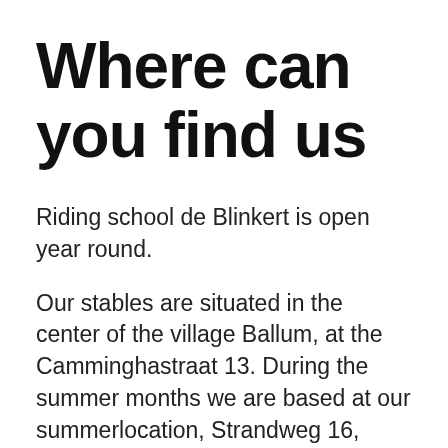Where can you find us
Riding school de Blinkert is open year round.
Our stables are situated in the center of the village Ballum, at the Camminghastraat 13. During the summer months we are based at our summerlocation, Strandweg 16, across the street from the airfield.
Since we always divide the groups based on riding experience and in order to make the best horse-